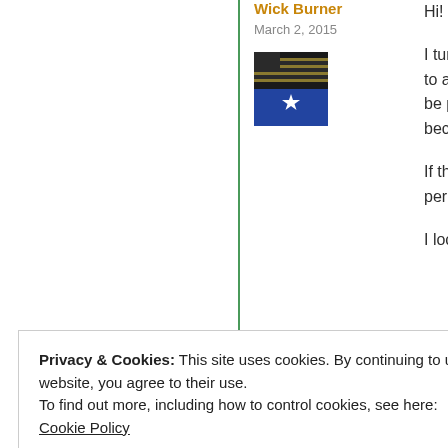Wick Burner
March 2, 2015
[Figure (illustration): Flag image - black and gold striped flag with blue section and white star]
Hi!

I turn 42 this ye... to all the questi... be presented to... become some s...

If that doesn't h... perpetually dis...

I look forward...
★ Liked by 1 per...
Reply
Privacy & Cookies: This site uses cookies. By continuing to use this website, you agree to their use.
To find out more, including how to control cookies, see here:
Cookie Policy
Close and accept